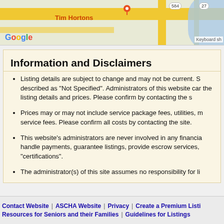[Figure (map): Google Maps screenshot showing Tim Hortons location with road and river features. Google logo visible bottom left, road badges showing 584 and 27, Keyboard shortcut text visible.]
Information and Disclaimers
Listing details are subject to change and may not be current. S... described as "Not Specified". Administrators of this website car... the listing details and prices. Please confirm by contacting the s...
Prices may or may not include service package fees, utilities, m... service fees. Please confirm all costs by contacting the site.
This website's administrators are never involved in any financia... handle payments, guarantee listings, provide escrow services, ... "certifications".
The administrator(s) of this site assumes no responsibility for li...
Contact Website | ASCHA Website | Privacy | Create a Premium Listi... Resources for Seniors and their Families | Guidelines for Listings